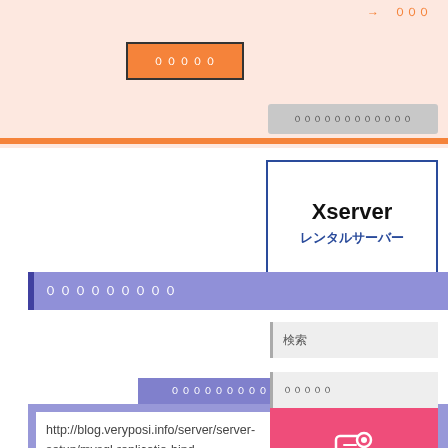[Figure (screenshot): Top salmon/pink banner area with orange button and gray pill element]
→ ００００
０００００
００００００００００００
[Figure (logo): Xserver レンタルサーバー logo box with blue border]
０００００００００
０００００００００００００URL
http://blog.veryposi.info/server/server-setup/mysql-replicatio-bind-address/trackback/
[Figure (logo): さくらのレンタルサーバ pink button with icon]
検索
０００００